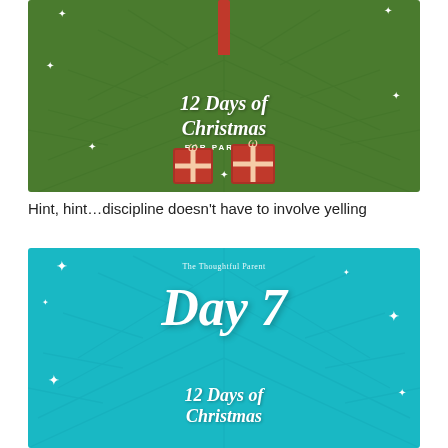[Figure (illustration): Green Christmas card graphic with pine branch pattern, candle, two red gift boxes, and text '12 Days of Christmas FOR PARENTS']
Hint, hint…discipline doesn't have to involve yelling
[Figure (illustration): Teal Christmas card graphic with pine branch pattern, white sparkle stars, text 'The Thoughtful Parent', large 'Day 7', and '12 Days of Christmas']